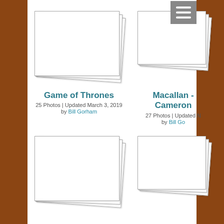[Figure (screenshot): Stack of white photo album pages representing 'Game of Thrones' album]
Game of Thrones
25 Photos | Updated March 3, 2019
by Bill Gorham
[Figure (screenshot): Stack of white photo album pages representing 'Macallan - Cameron' album with hamburger menu icon]
Macallan - Cameron
27 Photos | Updated N
by Bill Go
[Figure (screenshot): Stack of white photo album pages (bottom left, album title not visible)]
[Figure (screenshot): Stack of white photo album pages (bottom right, album title not visible)]